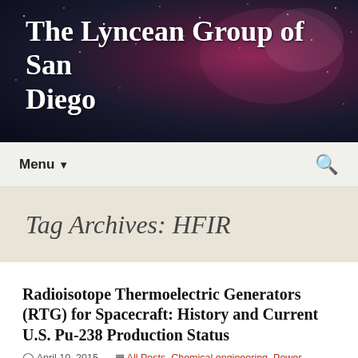The Lyncean Group of San Diego
Tag Archives: HFIR
Radioisotope Thermoelectric Generators (RTG) for Spacecraft: History and Current U.S. Pu-238 Production Status
April 10, 2015   All Posts, Chemical engineering, Power Generating Technology - Nuclear, Spacecraft and Missions   Advanced Stirling Radioisotope Generator, Advanced Test Reactor,